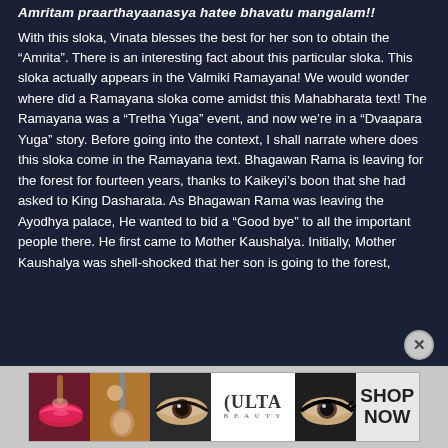Amritam praarthayaanasya hatee bhavatu mangalam!!
With this sloka, Vinata blesses the best for her son to obtain the “Amrita”. There is an interesting fact about this particular sloka. This sloka actually appears in the Valmiki Ramayana! We would wonder where did a Ramayana sloka come amidst this Mahabharata text! The Ramayana was a “Tretha Yuga” event, and now we’re in a “Dvaapara Yuga” story. Before going into the context, I shall narrate where does this sloka come in the Ramayana text. Bhagawan Rama is leaving for the forest for fourteen years, thanks to Kaikeyi’s boon that she had asked to King Dasharata. As Bhagawan Rama was leaving the Ayodhya palace, He wanted to bid a “Good bye” to all the important people there. He first came to Mother Kaushalya. Initially, Mother Kaushalya was shell-shocked that her son is going to the forest,
[Figure (advertisement): Ulta Beauty advertisement banner with makeup imagery (lips, brush, eye makeup) and SHOP NOW text]